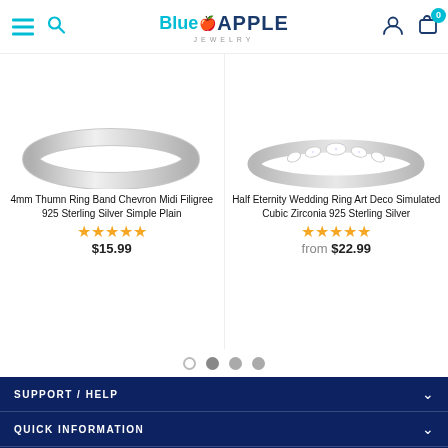BlueApple Jewelry — navigation header with hamburger menu, search, user icon, cart (0)
[Figure (photo): 4mm Thumn Ring Band Chevron Midi Filigree 925 Sterling Silver Simple Plain — silver ring product image]
4mm Thumn Ring Band Chevron Midi Filigree 925 Sterling Silver Simple Plain
★★★★★ $15.99
[Figure (photo): Half Eternity Wedding Ring Art Deco Simulated Cubic Zirconia 925 Sterling Silver — silver ring with stones product image]
Half Eternity Wedding Ring Art Deco Simulated Cubic Zirconia 925 Sterling Silver
★★★★★ from $22.99
SUPPORT / HELP
QUICK INFORMATION
LIKE US ON FACEBOOK
Like 864   Share